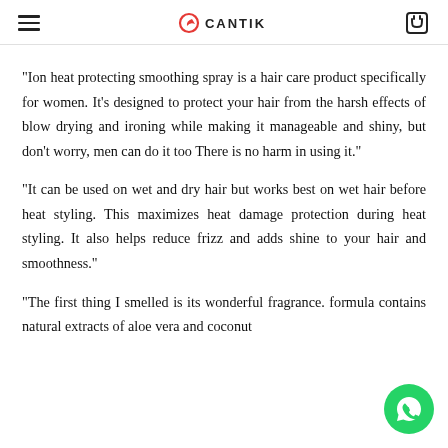CANTIK
“Ion heat protecting smoothing spray is a hair care product specifically for women. It’s designed to protect your hair from the harsh effects of blow drying and ironing while making it manageable and shiny, but don’t worry, men can do it too There is no harm in using it.”
“It can be used on wet and dry hair but works best on wet hair before heat styling. This maximizes heat damage protection during heat styling. It also helps reduce frizz and adds shine to your hair and smoothness.”
“The first thing I smelled is its wonderful fragrance. formula contains natural extracts of aloe vera and coconut